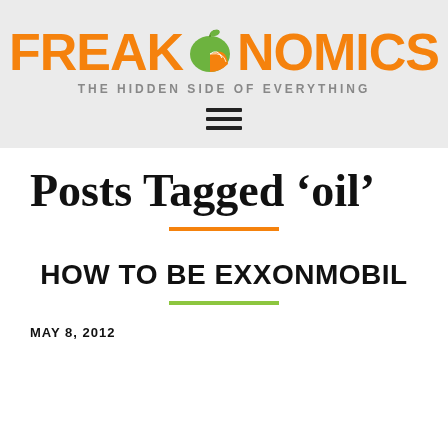FREAKONOMICS — THE HIDDEN SIDE OF EVERYTHING
Posts Tagged ‘oil’
HOW TO BE EXXONMOBIL
MAY 8, 2012